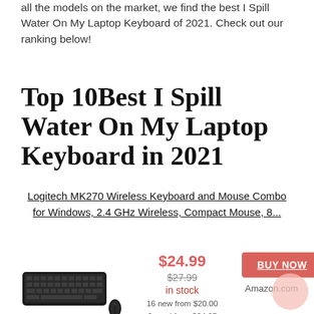all the models on the market, we find the best I Spill Water On My Laptop Keyboard of 2021. Check out our ranking below!
Top 10Best I Spill Water On My Laptop Keyboard in 2021
Logitech MK270 Wireless Keyboard and Mouse Combo for Windows, 2.4 GHz Wireless, Compact Mouse, 8...
[Figure (photo): Product photo of Logitech MK270 wireless keyboard and mouse combo, black]
$24.99
$27.99
in stock
16 new from $20.00
6 used from $24.95
as of August 27, 2022 1:13 pm
BUY NOW
Amazon.com